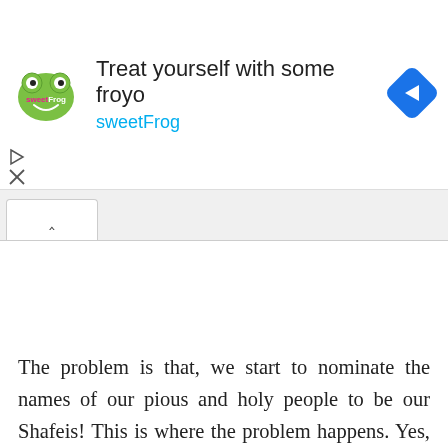[Figure (screenshot): Advertisement banner for sweetFrog frozen yogurt. Shows sweetFrog logo on left, text 'Treat yourself with some froyo' and 'sweetFrog' in cyan, with a blue navigation/directions diamond icon on the right. Small play and X controls on the left below the logo.]
[Figure (screenshot): Browser tab bar showing an open tab with an up-chevron (^) symbol indicating a collapsed/minimized UI panel.]
The problem is that, we start to nominate the names of our pious and holy people to be our Shafeis! This is where the problem happens. Yes, the Messenger of Allah (saws) himself said that Allah had granted